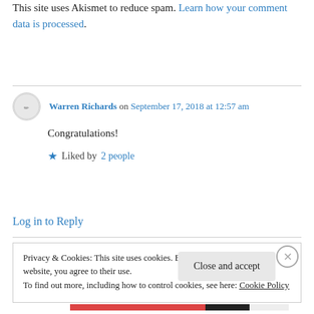This site uses Akismet to reduce spam. Learn how your comment data is processed.
Warren Richards on September 17, 2018 at 12:57 am
Congratulations!
★ Liked by 2 people
Log in to Reply
Privacy & Cookies: This site uses cookies. By continuing to use this website, you agree to their use.
To find out more, including how to control cookies, see here: Cookie Policy